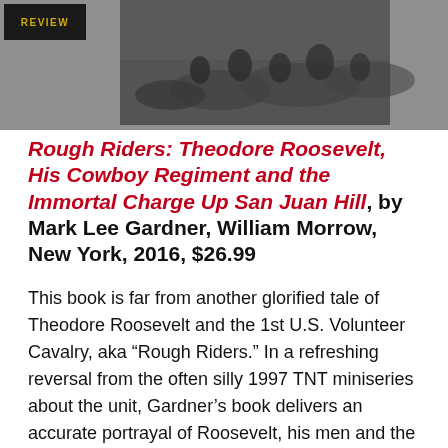[Figure (photo): Black and white historical photograph of cavalry soldiers charging, likely depicting the Rough Riders or similar cavalry unit. A small dark overlay in the top-left corner contains the text 'REVIEW' in yellow/gold lettering.]
Rough Riders: Theodore Roosevelt, His Cowboy Regiment and the Immortal Charge Up San Juan Hill, by Mark Lee Gardner, William Morrow, New York, 2016, $26.99
This book is far from another glorified tale of Theodore Roosevelt and the 1st U.S. Volunteer Cavalry, aka “Rough Riders.” In a refreshing reversal from the often silly 1997 TNT miniseries about the unit, Gardner’s book delivers an accurate portrayal of Roosevelt, his men and the action in Cuba, replete with instances of anguish, grit and inconspicuous valor.